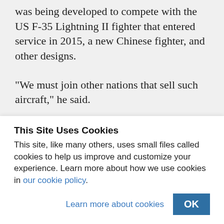was being developed to compete with the US F-35 Lightning II fighter that entered service in 2015, a new Chinese fighter, and other designs.
“We must join other nations that sell such aircraft,” he said.
According to, The War Zone, the aircraft
This Site Uses Cookies
This site, like many others, uses small files called cookies to help us improve and customize your experience. Learn more about how we use cookies in our cookie policy.
Learn more about cookies
OK